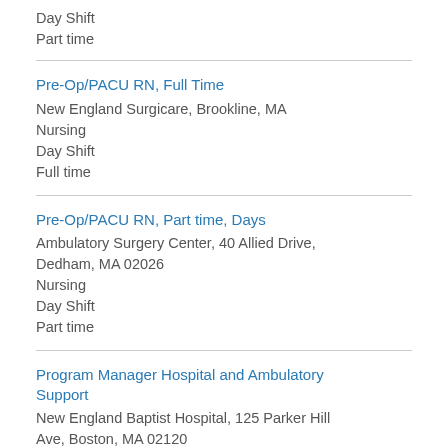Day Shift
Part time
Pre-Op/PACU RN, Full Time
New England Surgicare, Brookline, MA
Nursing
Day Shift
Full time
Pre-Op/PACU RN, Part time, Days
Ambulatory Surgery Center, 40 Allied Drive, Dedham, MA 02026
Nursing
Day Shift
Part time
Program Manager Hospital and Ambulatory Support
New England Baptist Hospital, 125 Parker Hill Ave, Boston, MA 02120
Administration